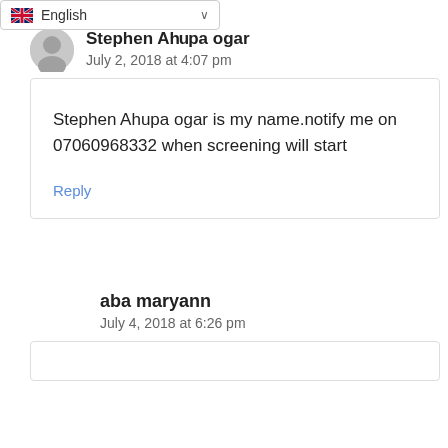English
Stephen Ahupa ogar
July 2, 2018 at 4:07 pm
Stephen Ahupa ogar is my name.notify me on 07060968332 when screening will start
Reply
aba maryann
July 4, 2018 at 6:26 pm